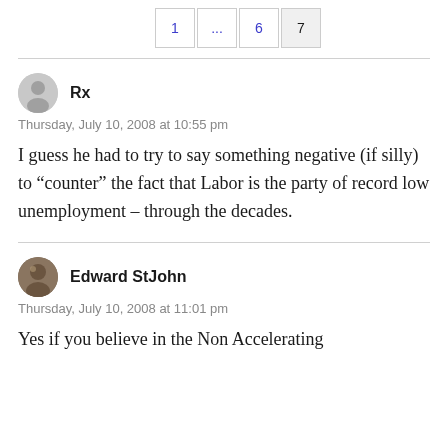1 … 6 7
Rx
Thursday, July 10, 2008 at 10:55 pm
I guess he had to try to say something negative (if silly) to “counter” the fact that Labor is the party of record low unemployment – through the decades.
Edward StJohn
Thursday, July 10, 2008 at 11:01 pm
Yes if you believe in the Non Accelerating